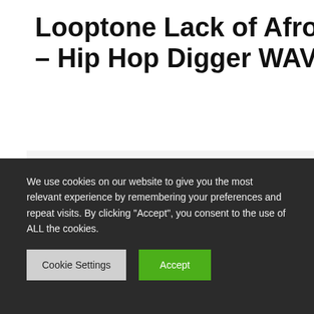Looptone Lack of Afro – Hip Hop Digger WAV
By Plugins | July 9, 2022
[Figure (illustration): Red background album cover image with text 'LACK OF AFRO' and large 'HIP' text in white]
Looptone Lack
We use cookies on our website to give you the most relevant experience by remembering your preferences and repeat visits. By clicking “Accept”, you consent to the use of ALL the cookies.
Cookie Settings | Accept